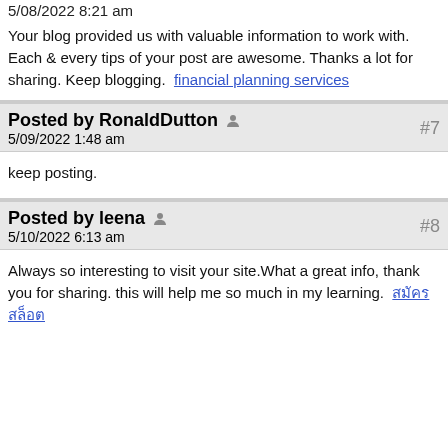5/08/2022 8:21 am
Your blog provided us with valuable information to work with. Each & every tips of your post are awesome. Thanks a lot for sharing. Keep blogging.  financial planning services
Posted by RonaldDutton  #7
5/09/2022 1:48 am
keep posting.
Posted by leena  #8
5/10/2022 6:13 am
Always so interesting to visit your site.What a great info, thank you for sharing. this will help me so much in my learning.  สมัครสล็อต